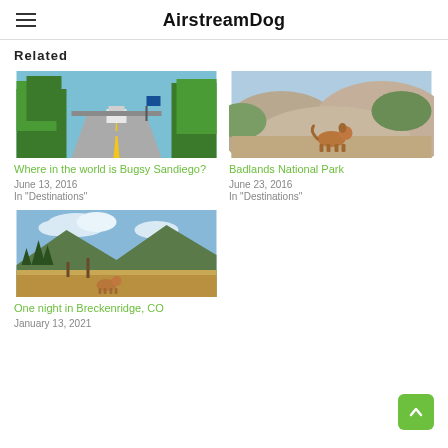AirstreamDog
Related
[Figure (photo): Road with a vehicle (RV/Airstream) driving away, surrounded by green trees on both sides, yellow road markings visible]
Where in the world is Bugsy Sandiego?
June 13, 2016
In "Destinations"
[Figure (photo): A brown dog standing on rocky, hilly terrain at Badlands National Park with rugged hills in the background]
Badlands National Park
June 23, 2016
In "Destinations"
[Figure (photo): Mountain landscape with dry grassland, pine trees, and a dog visible in the foreground — Breckenridge, CO]
One night in Breckenridge, CO
January 13, 2021